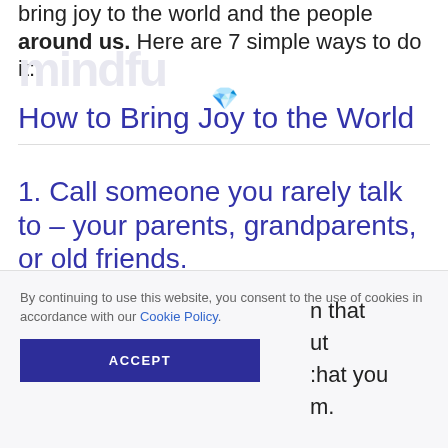bring joy to the world and the people around us. Here are 7 simple ways to do it:
How to Bring Joy to the World
1. Call someone you rarely talk to – your parents, grandparents, or old friends.
By continuing to use this website, you consent to the use of cookies in accordance with our Cookie Policy.
n that ut :hat you m.